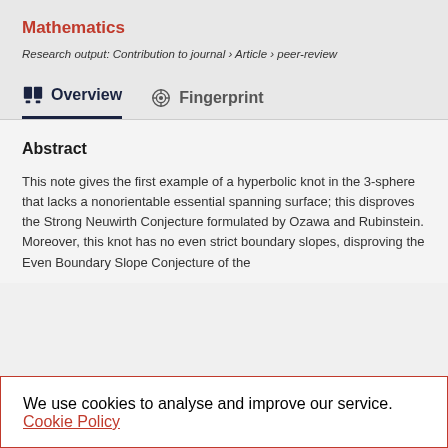Mathematics
Research output: Contribution to journal › Article › peer-review
Overview
Fingerprint
Abstract
This note gives the first example of a hyperbolic knot in the 3-sphere that lacks a nonorientable essential spanning surface; this disproves the Strong Neuwirth Conjecture formulated by Ozawa and Rubinstein. Moreover, this knot has no even strict boundary slopes, disproving the Even Boundary Slope Conjecture of the
We use cookies to analyse and improve our service. Cookie Policy